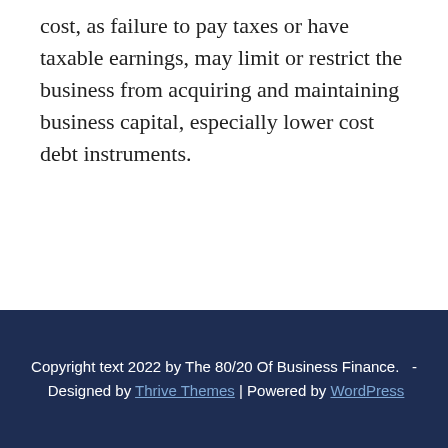cost, as failure to pay taxes or have taxable earnings, may limit or restrict the business from acquiring and maintaining business capital, especially lower cost debt instruments.
Copyright text 2022 by The 80/20 Of Business Finance.   -  Designed by Thrive Themes | Powered by WordPress